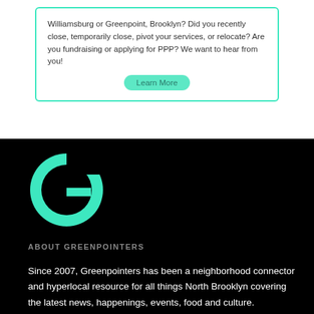Williamsburg or Greenpoint, Brooklyn? Did you recently close, temporarily close, pivot your services, or relocate? Are you fundraising or applying for PPP? We want to hear from you!
Learn More
[Figure (logo): Large teal letter G logo for Greenpointers on black background]
ABOUT GREENPOINTERS
Since 2007, Greenpointers has been a neighborhood connector and hyperlocal resource for all things North Brooklyn covering the latest news, happenings, events, food and culture.